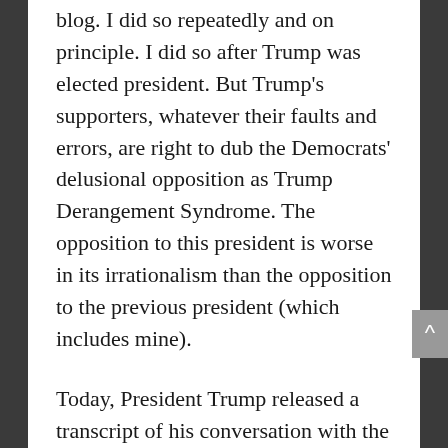blog. I did so repeatedly and on principle. I did so after Trump was elected president. But Trump's supporters, whatever their faults and errors, are right to dub the Democrats' delusional opposition as Trump Derangement Syndrome. The opposition to this president is worse in its irrationalism than the opposition to the previous president (which includes mine).
Today, President Trump released a transcript of his conversation with the president of the Ukraine — the supposed flashpoint for the Democrats' grounds for